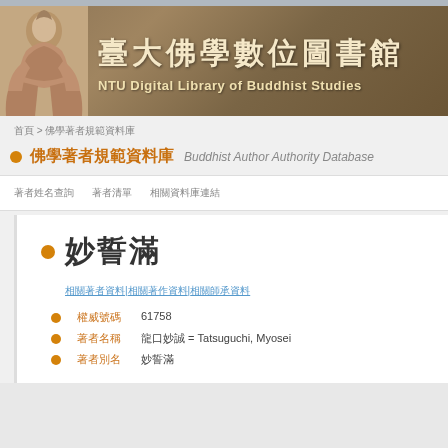[Figure (logo): NTU Digital Library of Buddhist Studies banner with statue image on left and Chinese/English title text on brown background]
首頁 > 佛學著者規範資料庫
佛學著者規範資料庫  Buddhist Author Authority Database
著者姓名查詢  著者清單  相關資料庫連結
妙誓滿
相關著者資料|相關著作資料|相關師承資料
權威號碼 61758
著者名稱 龍口妙誠 = Tatsuguchi, Myosei
著者別名 妙誓滿